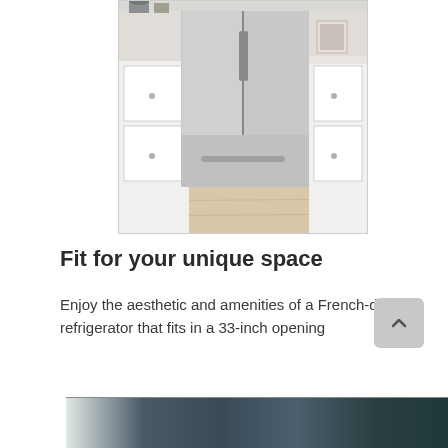[Figure (photo): A stainless steel French-door refrigerator in a kitchen setting with white cabinets and wood floor]
Fit for your unique space
Enjoy the aesthetic and amenities of a French-door refrigerator that fits in a 33-inch opening
[Figure (photo): Partial view of refrigerator panel in dark teal/green color options]